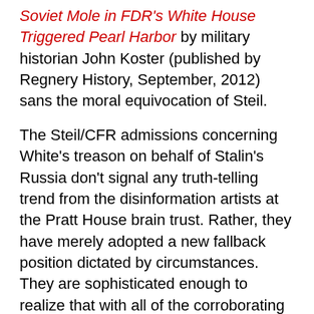Soviet Mole in FDR's White House Triggered Pearl Harbor by military historian John Koster (published by Regnery History, September, 2012) sans the moral equivocation of Steil.
The Steil/CFR admissions concerning White's treason on behalf of Stalin's Russia don't signal any truth-telling trend from the disinformation artists at the Pratt House brain trust. Rather, they have merely adopted a new fallback position dictated by circumstances. They are sophisticated enough to realize that with all of the corroborating evidence that has surfaced in recent years, they risk losing all credibility by sticking to the Boughton/Craig denialist position, which has been the main position of the CFR thought cartel for the past six decades. Back when it mattered most, in the 1940s and '50s, when courageous civil servants, diplomats, military personnel, elected officials, and private citizens heroically fought to expose the Communist operatives in our government, the leading lights of the CFR did all within their considerable powers to squash any real investigations and